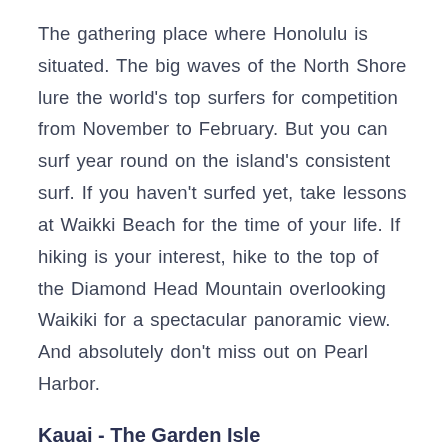The gathering place where Honolulu is situated. The big waves of the North Shore lure the world's top surfers for competition from November to February. But you can surf year round on the island's consistent surf. If you haven't surfed yet, take lessons at Waikki Beach for the time of your life. If hiking is your interest, hike to the top of the Diamond Head Mountain overlooking Waikiki for a spectacular panoramic view. And absolutely don't miss out on Pearl Harbor.
Kauai - The Garden Isle
Whether you are an experienced or beginner hiker, Waimea Canyon, known as the "Grand